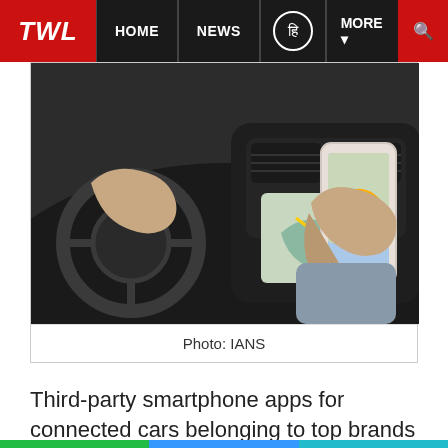TWL | HOME | NEWS | हि | MORE | search
[Figure (photo): Person holding a smartphone showing a navigation map app while sitting in a car interior with steering wheel and dashboard visible]
Photo: IANS
Third-party smartphone apps for connected cars belonging to top brands like Tesla, Nissan, Renault, Ford and Volk...